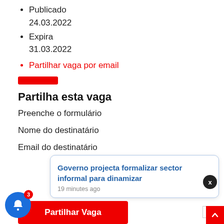Publicado
24.03.2022
Expira
31.03.2022
Partilhar vaga por email
[Figure (other): Red rounded rectangle bar divider]
Partilha esta vaga
Preenche o formulário
Nome do destinatário
Email do destinatário
Governo projecta formalizar sector informal para dinamizar
19 minutes ago
Partilhar Vaga